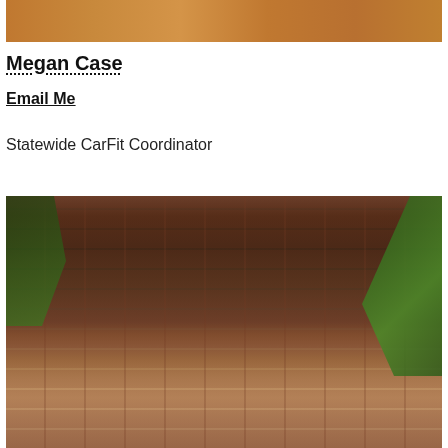[Figure (photo): Partial photo of a person in an orange/patterned outfit, cropped at the top of the page]
Megan Case
Email Me
Statewide CarFit Coordinator
[Figure (photo): Portrait photo of a smiling woman with short dark hair, in front of a brick wall with green plants]